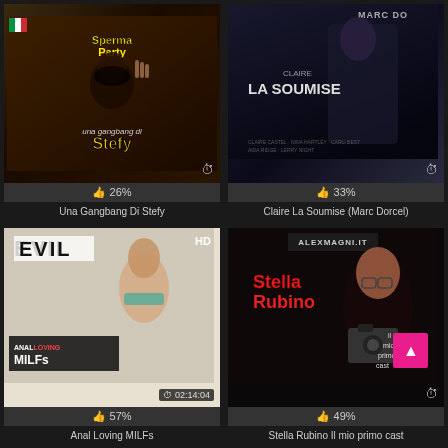[Figure (photo): Movie poster for 'Una Gangbang Di Stefy' - dark background with masked female figure, Italian language title text 'Sperma Party' and 'Una Gangsang di Stefy']
26%
Una Gangbang Di Stefy
[Figure (photo): Movie poster for 'Claire La Soumise (Marc Dorcel)' - dark moody background, female figure, text 'CLAIRE LA SOUMISE', Marc Dorcel branding]
33%
Claire La Soumise (Marc Dorcel)
[Figure (photo): Movie poster for 'Anal Loving MILFs' - EVIL brand logo, blonde female figure in green bikini, text 'ANAL LOVING MILFs', duration 02:14:04, HD badge]
57%
Anal Loving MILFs
[Figure (photo): Movie poster for 'Stella Rubino Il mio primo cast' - Alex Magni branding, red-haired female with camera, text 'Stella Rubino', 'il mio primo cast']
49%
Stella Rubino Il mio primo cast